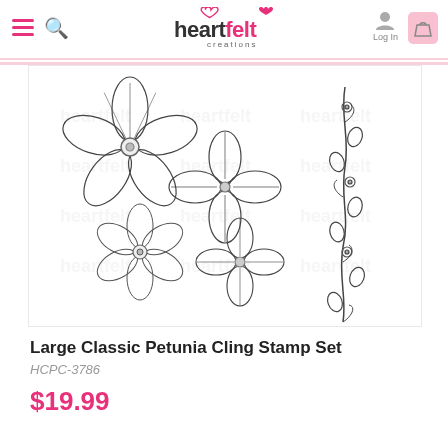Heartfelt Creations — Log In
[Figure (illustration): Product image of the Large Classic Petunia Cling Stamp Set showing line-art illustrations of petunia flowers, leaf clusters, and a decorative vine border on white background with watermark]
Large Classic Petunia Cling Stamp Set
HCPC-3786
$19.99